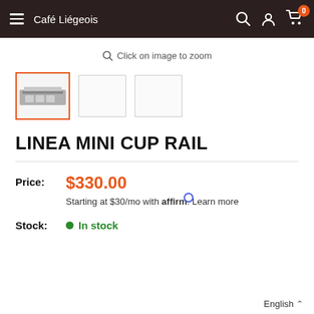Café Liégeois
Click on image to zoom
[Figure (photo): Product thumbnail images for Linea Mini Cup Rail — first thumbnail selected with orange border showing product photo, two blank placeholder thumbnails beside it]
LINEA MINI CUP RAIL
Price: $330.00 Starting at $30/mo with Affirm. Learn more
Stock: In stock
English